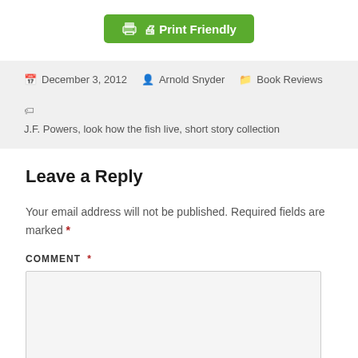[Figure (other): Print Friendly green button with printer icon]
December 3, 2012  Arnold Snyder  Book Reviews  J.F. Powers, look how the fish live, short story collection
Leave a Reply
Your email address will not be published. Required fields are marked *
COMMENT *